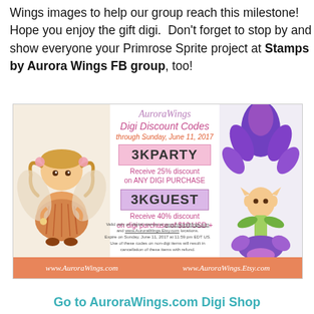Wings images to help our group reach this milestone! Hope you enjoy the gift digi. Don't forget to stop by and show everyone your Primrose Sprite project at Stamps by Aurora Wings FB group, too!
[Figure (infographic): AuroraWings Digi Discount Codes promotional advertisement box. Features two fairy/sprite illustrations on left and right sides. Contains discount codes 3KPARTY (25% off any digi purchase) and 3KGUEST (40% off digi purchase of $10 USD+), valid through Sunday June 11 2017. Footer bar shows www.AuroraWings.com and www.AuroraWings.Etsy.com]
Go to AuroraWings.com Digi Shop